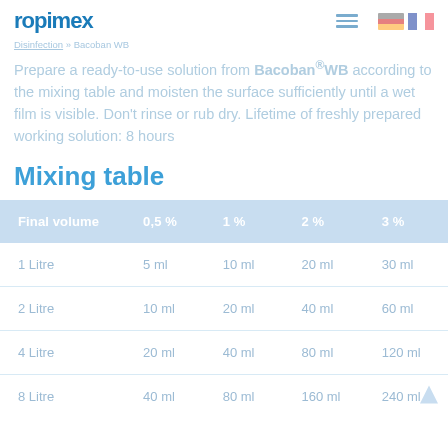ropimex
Disinfection » Bacoban WB
Prepare a ready-to-use solution from Bacoban®WB according to the mixing table and moisten the surface sufficiently until a wet film is visible. Don't rinse or rub dry. Lifetime of freshly prepared working solution: 8 hours
Mixing table
| Final volume | 0,5 % | 1 % | 2 % | 3 % |
| --- | --- | --- | --- | --- |
| 1 Litre | 5 ml | 10 ml | 20 ml | 30 ml |
| 2 Litre | 10 ml | 20 ml | 40 ml | 60 ml |
| 4 Litre | 20 ml | 40 ml | 80 ml | 120 ml |
| 8 Litre | 40 ml | 80 ml | 160 ml | 240 ml |